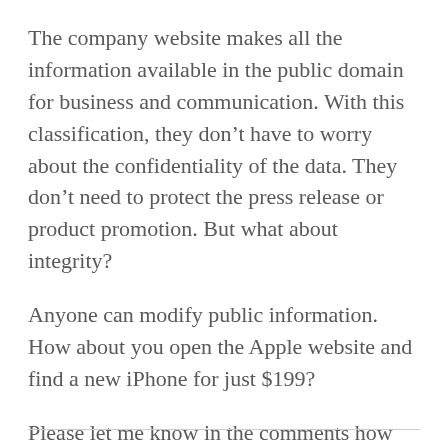The company website makes all the information available in the public domain for business and communication. With this classification, they don't have to worry about the confidentiality of the data. They don't need to protect the press release or product promotion. But what about integrity?
Anyone can modify public information. How about you open the Apple website and find a new iPhone for just $199?
Please let me know in the comments how can we address the integrity of the public data.